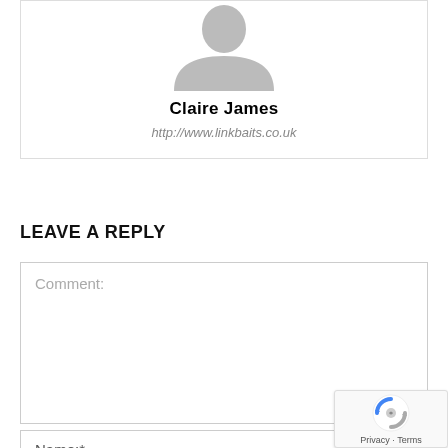[Figure (illustration): Grey placeholder avatar silhouette of a person shown from shoulders up, centered at top of profile card]
Claire James
http://www.linkbaits.co.uk
LEAVE A REPLY
Comment:
Name:*